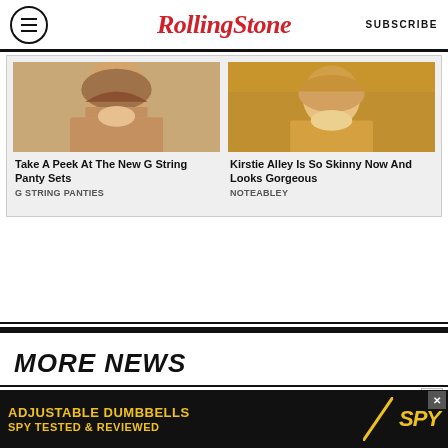Rolling Stone | SUBSCRIBE
[Figure (photo): Woman smiling, left ad card image]
[Figure (photo): Woman smiling, right ad card image (Kirstie Alley)]
Take A Peek At The New G String Panty Sets
G STRING PANTIES
Kirstie Alley Is So Skinny Now And Looks Gorgeous
NOTEABLEY
MORE NEWS
[Figure (screenshot): Bottom ad banner: ADJUSTABLE DUMBBELLS SPY TESTED & REVIEWED with SPY logo]